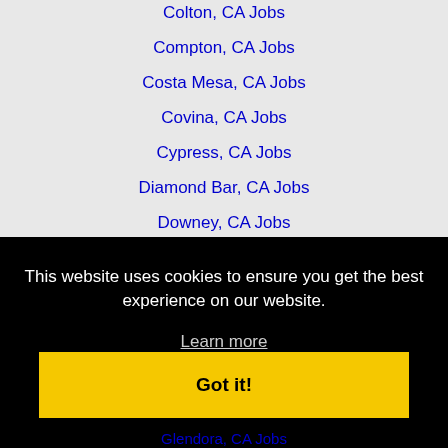Colton, CA Jobs
Compton, CA Jobs
Costa Mesa, CA Jobs
Covina, CA Jobs
Cypress, CA Jobs
Diamond Bar, CA Jobs
Downey, CA Jobs
East Los Angeles, CA Jobs
El Cajon, CA Jobs
El Monte, CA Jobs
This website uses cookies to ensure you get the best experience on our website.
Learn more
Got it!
Glendora, CA Jobs